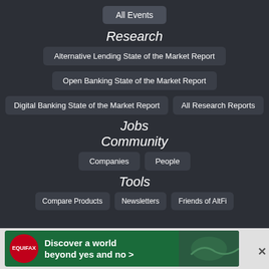All Events
Research
Alternative Lending State of the Market Report
Open Banking State of the Market Report
Digital Banking State of the Market Report
All Research Reports
Jobs
Community
Companies
People
Tools
Compare Products
Newsletters
Friends of AltFi
[Figure (other): Equifax advertisement banner: dark green background with Equifax red circle logo and text 'Discover a world beyond yes and no >']